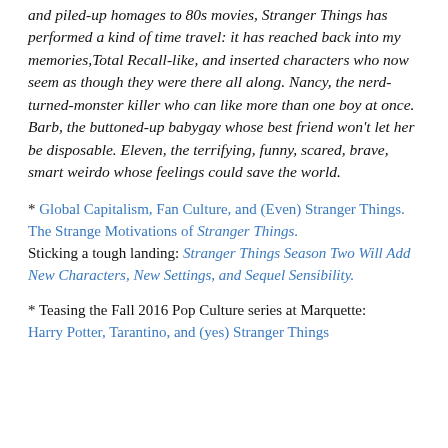and piled-up homages to 80s movies, Stranger Things has performed a kind of time travel: it has reached back into my memories, Total Recall-like, and inserted characters who now seem as though they were there all along. Nancy, the nerd-turned-monster killer who can like more than one boy at once. Barb, the buttoned-up babygay whose best friend won't let her be disposable. Eleven, the terrifying, funny, scared, brave, smart weirdo whose feelings could save the world.
* Global Capitalism, Fan Culture, and (Even) Stranger Things. The Strange Motivations of Stranger Things. Sticking a tough landing: Stranger Things Season Two Will Add New Characters, New Settings, and Sequel Sensibility.
* Teasing the Fall 2016 Pop Culture series at Marquette: Harry Potter, Tarantino, and (yes) Stranger Things